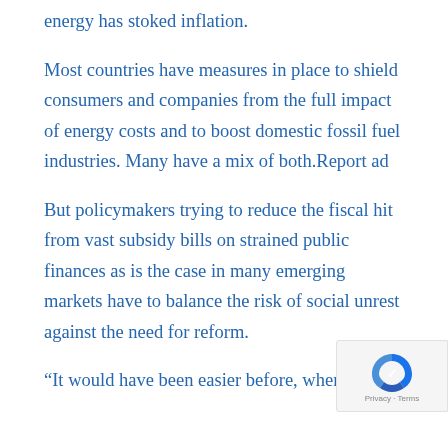energy has stoked inflation.
Most countries have measures in place to shield consumers and companies from the full impact of energy costs and to boost domestic fossil fuel industries. Many have a mix of both.Report ad
But policymakers trying to reduce the fiscal hit from vast subsidy bills on strained public finances as is the case in many emerging markets have to balance the risk of social unrest against the need for reform.
“It would have been easier before, when we